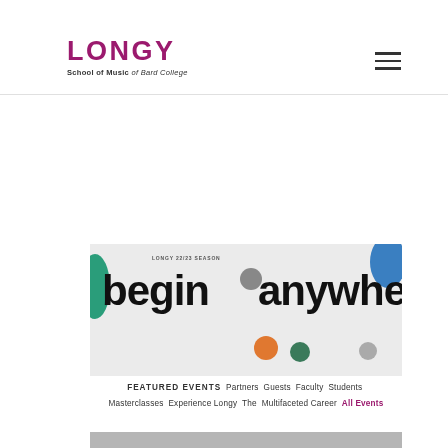[Figure (logo): Longy School of Music of Bard College logo — large magenta/purple LONGY text above smaller 'School of Music of Bard College' subtitle]
[Figure (illustration): Hamburger menu icon (three horizontal lines) in top-right of header]
[Figure (photo): Longy 22/23 Season promotional banner with text 'begin anywhere' and colorful decorative circles/dots on a light gray background]
FEATURED EVENTS  Partners  Guests  Faculty  Students  Masterclasses  Experience Longy  The Multifaceted Career  All Events
22 / 23 SEASON